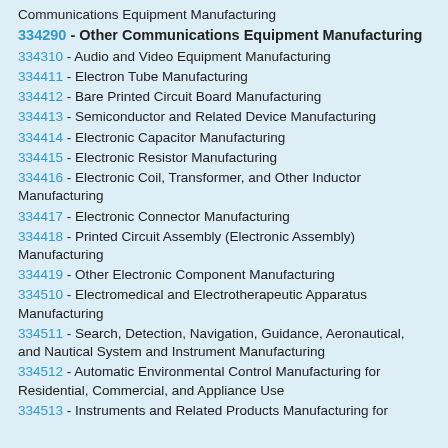Communications Equipment Manufacturing
334290 - Other Communications Equipment Manufacturing
334310 - Audio and Video Equipment Manufacturing
334411 - Electron Tube Manufacturing
334412 - Bare Printed Circuit Board Manufacturing
334413 - Semiconductor and Related Device Manufacturing
334414 - Electronic Capacitor Manufacturing
334415 - Electronic Resistor Manufacturing
334416 - Electronic Coil, Transformer, and Other Inductor Manufacturing
334417 - Electronic Connector Manufacturing
334418 - Printed Circuit Assembly (Electronic Assembly) Manufacturing
334419 - Other Electronic Component Manufacturing
334510 - Electromedical and Electrotherapeutic Apparatus Manufacturing
334511 - Search, Detection, Navigation, Guidance, Aeronautical, and Nautical System and Instrument Manufacturing
334512 - Automatic Environmental Control Manufacturing for Residential, Commercial, and Appliance Use
334513 - Instruments and Related Products Manufacturing for